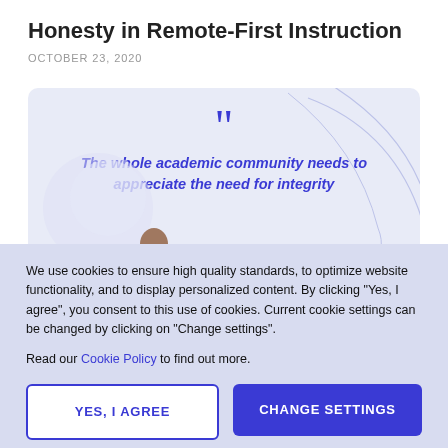Honesty in Remote-First Instruction
OCTOBER 23, 2020
[Figure (illustration): Quote card with light blue/purple background and decorative line art. Large blue quotation marks above italic bold blue text reading: The whole academic community needs to appreciate the need for integrity. A person's head is partially visible at the bottom of the card.]
We use cookies to ensure high quality standards, to optimize website functionality, and to display personalized content. By clicking "Yes, I agree", you consent to this use of cookies. Current cookie settings can be changed by clicking on "Change settings".
Read our Cookie Policy to find out more.
YES, I AGREE
CHANGE SETTINGS